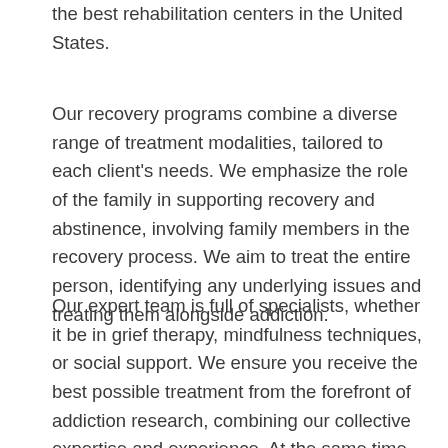the best rehabilitation centers in the United States.
Our recovery programs combine a diverse range of treatment modalities, tailored to each client's needs. We emphasize the role of the family in supporting recovery and abstinence, involving family members in the recovery process. We aim to treat the entire person, identifying any underlying issues and treating them alongside addiction.
Our expert team is full of specialists, whether it be in grief therapy, mindfulness techniques, or social support. We ensure you receive the best possible treatment from the forefront of addiction research, combining our collective expertise and experience. At the same time,